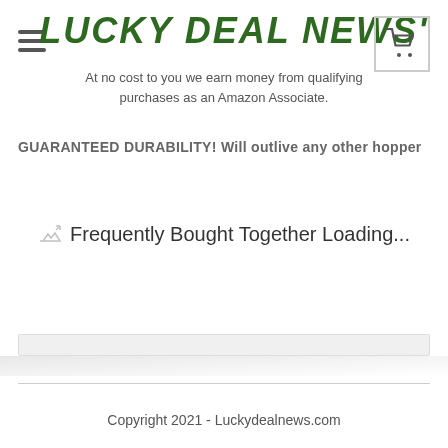LUCKY DEAL NEWS'
At no cost to you we earn money from qualifying purchases as an Amazon Associate.
GUARANTEED DURABILITY! Will outlive any other hopper
Frequently Bought Together Loading...
Copyright 2021 - Luckydealnews.com